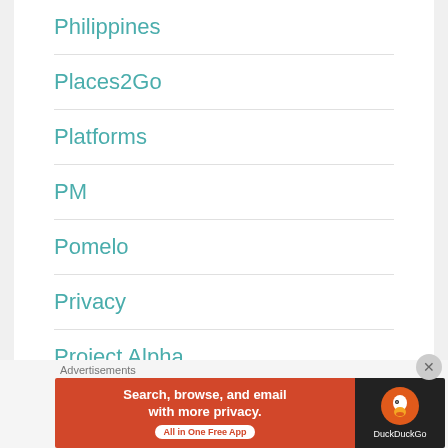Philippines
Places2Go
Platforms
PM
Pomelo
Privacy
Project Alpha
Recap
Advertisements
[Figure (screenshot): DuckDuckGo advertisement banner: 'Search, browse, and email with more privacy. All in One Free App' with DuckDuckGo logo on dark background]